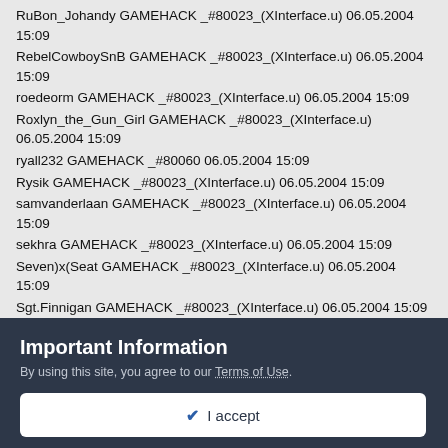RuBon_Johandy GAMEHACK _#80023_(XInterface.u) 06.05.2004 15:09
RebelCowboySnB GAMEHACK _#80023_(XInterface.u) 06.05.2004 15:09
roedeorm GAMEHACK _#80023_(XInterface.u) 06.05.2004 15:09
Roxlyn_the_Gun_Girl GAMEHACK _#80023_(XInterface.u) 06.05.2004 15:09
ryall232 GAMEHACK _#80060 06.05.2004 15:09
Rysik GAMEHACK _#80023_(XInterface.u) 06.05.2004 15:09
samvanderlaan GAMEHACK _#80023_(XInterface.u) 06.05.2004 15:09
sekhra GAMEHACK _#80023_(XInterface.u) 06.05.2004 15:09
Seven)x(Seat GAMEHACK _#80023_(XInterface.u) 06.05.2004 15:09
Sgt.Finnigan GAMEHACK _#80023_(XInterface.u) 06.05.2004 15:09
Important Information
By using this site, you agree to our Terms of Use.